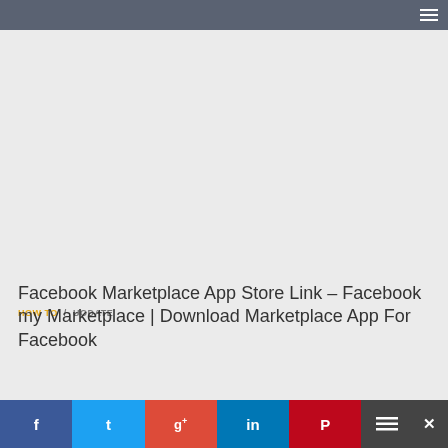HOW TO / UODATE
Facebook Marketplace App Store Link – Facebook my Marketplace | Download Marketplace App For Facebook